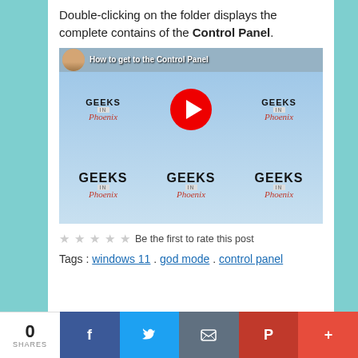Double-clicking on the folder displays the complete contains of the Control Panel.
[Figure (screenshot): YouTube video thumbnail for 'How to get to the Control Panel' by Geeks in Phoenix channel, showing a grid of Geeks in Phoenix logos with a YouTube play button in the center.]
★★★★★ Be the first to rate this post
Tags : windows 11 . god mode . control panel
0 SHARES — social share bar with Facebook, Twitter, Email, Pinterest, More buttons